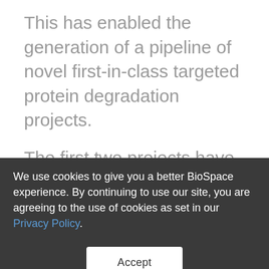This has enabled the generation of a pipeline of novel first-in-class targeted protein degradation projects.
The first two projects have now transitioned into lead optimisation after completing a comprehensive validation process on Evotec's platforms. Targeted degradation of these novel targets impacts an established cancer pathway with the promise of providing new therapeutic
We use cookies to give you a better BioSpace experience. By continuing to use our site, you are agreeing to the use of cookies as set in our Privacy Policy.
Accept